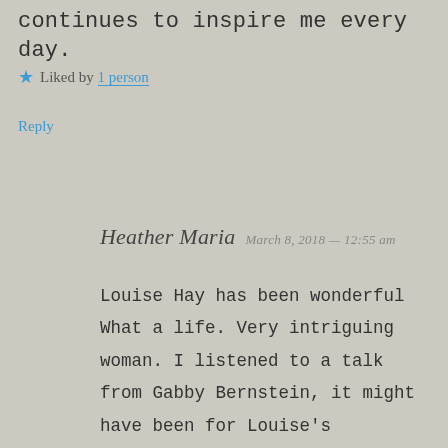continues to inspire me every day.
★ Liked by 1 person
Reply
Heather Maria   March 8, 2018 — 12:55 am
Louise Hay has been wonderful What a life. Very intriguing woman. I listened to a talk from Gabby Bernstein, it might have been for Louise's birthday, and it was so interesting to know the